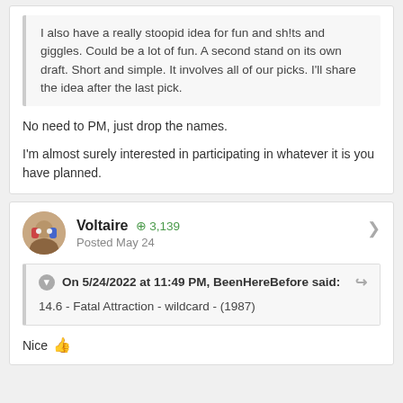I also have a really stoopid idea for fun and sh!ts and giggles. Could be a lot of fun. A second stand on its own draft. Short and simple. It involves all of our picks. I'll share the idea after the last pick.
No need to PM, just drop the names.
I'm almost surely interested in participating in whatever it is you have planned.
Voltaire  +3,139
Posted May 24
On 5/24/2022 at 11:49 PM, BeenHereBefore said:
14.6 - Fatal Attraction - wildcard - (1987)
Nice 👍